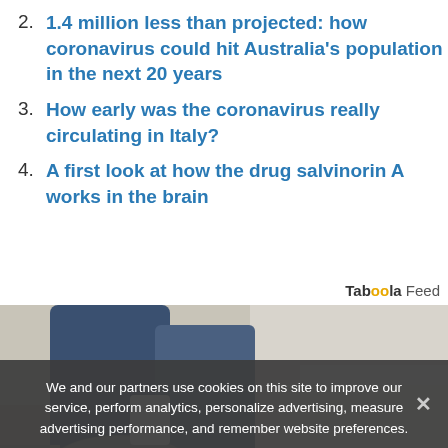2. 1.4 million less than projected: how coronavirus could hit Australia's population in the next 20 years
3. How early was the coronavirus really circulating in Italy?
4. A first look at how the drug salvinorin A works in the brain
Taboola Feed
[Figure (photo): Photo of a person's legs wearing jeans and sneakers, sitting on a surface]
We and our partners use cookies on this site to improve our service, perform analytics, personalize advertising, measure advertising performance, and remember website preferences.